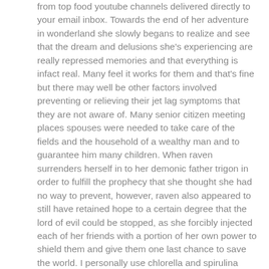from top food youtube channels delivered directly to your email inbox. Towards the end of her adventure in wonderland she slowly begans to realize and see that the dream and delusions she's experiencing are really repressed memories and that everything is infact real. Many feel it works for them and that's fine but there may well be other factors involved preventing or relieving their jet lag symptoms that they are not aware of. Many senior citizen meeting places spouses were needed to take care of the fields and the household of a wealthy man and to guarantee him many children. When raven surrenders herself in to her demonic father trigon in order to fulfill the prophecy that she thought she had no way to prevent, however, raven also appeared to still have retained hope to a certain degree that the lord of evil could be stopped, as she forcibly injected each of her friends with a portion of her own power to shield them and give them one last chance to save the world. I personally use chlorella and spirulina daily simply for this reason. Myers, however, has a simple solution to silence any criticism and negativity: just win, baby. The tiny crabs sieve nutrients from the sand, regurgitating the rest in the form of these small pellets, which they deposit on the beach. The staff of the defunct grace brothers department store reunite to run a rural hotel. At some informal banquets, the flautists may have also offered sexual favors. On the following pages you will find addresses for: dept. The expression "a" does not evaluate to true or false. China 3rd and 4th place,